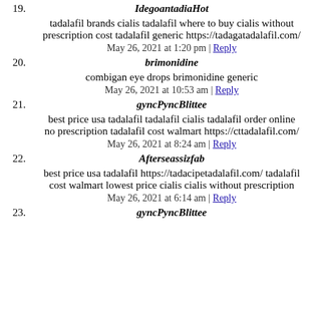19. IdegoantadiaHot
tadalafil brands cialis tadalafil where to buy cialis without prescription cost tadalafil generic https://tadagatadalafil.com/
May 26, 2021 at 1:20 pm | Reply
20. brimonidine
combigan eye drops brimonidine generic
May 26, 2021 at 10:53 am | Reply
21. gyncPyncBlittee
best price usa tadalafil tadalafil cialis tadalafil order online no prescription tadalafil cost walmart https://cttadalafil.com/
May 26, 2021 at 8:24 am | Reply
22. Afterseassizfab
best price usa tadalafil https://tadacipetadalafil.com/ tadalafil cost walmart lowest price cialis cialis without prescription
May 26, 2021 at 6:14 am | Reply
23. gyncPyncBlittee